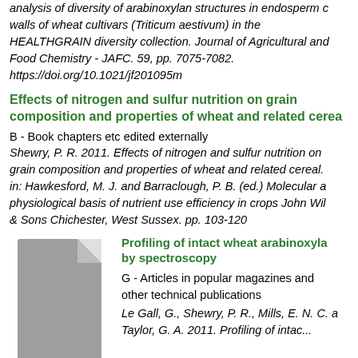analysis of diversity of arabinoxylan structures in endosperm cell walls of wheat cultivars (Triticum aestivum) in the HEALTHGRAIN diversity collection. Journal of Agricultural and Food Chemistry - JAFC. 59, pp. 7075-7082. https://doi.org/10.1021/jf201095m
Effects of nitrogen and sulfur nutrition on grain composition and properties of wheat and related cerea
B - Book chapters etc edited externally
Shewry, P. R. 2011. Effects of nitrogen and sulfur nutrition on grain composition and properties of wheat and related cereal. in: Hawkesford, M. J. and Barraclough, P. B. (ed.) Molecular a physiological basis of nutrient use efficiency in crops John Wil & Sons Chichester, West Sussex. pp. 103-120
Profiling of intact wheat arabinoxyla by spectroscopy
G - Articles in popular magazines and other technical publications
Le Gall, G., Shewry, P. R., Mills, E. N. C. a Taylor, G. A. 2011. Profiling of intact...